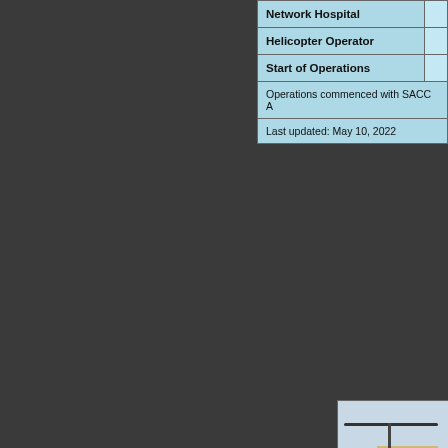| Network Hospital |  |
| --- | --- |
| Helicopter Operator |  |
| Start of Operations |  |
| Operations commenced with SACC A |  |
| Last updated: May 10, 2022 |  |
[Figure (photo): A scene from the ceremony at the helipad base, the Nagaoka area. Photo: Nagaoka. Shows a helicopter on a green landing pad with people in uniform and a white banner with red kanji characters.]
A scene from the ceremony base, the Naga (Photo: Nagaoka